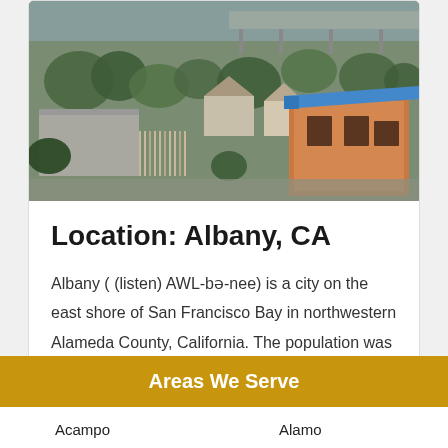[Figure (photo): Aerial photograph of Albany, CA neighborhood showing houses, trees, and a building under construction with a blue roof.]
Location: Albany, CA
Albany ( (listen) AWL-bə-nee) is a city on the east shore of San Francisco Bay in northwestern Alameda County, California. The population was 20,271 at the 2020 census.
Areas We Serve
Acampo
Alamo